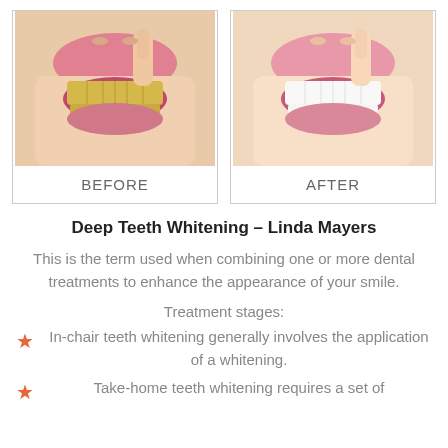[Figure (photo): Before and after teeth whitening photos side by side. Left photo shows yellowed teeth (BEFORE), right photo shows white teeth (AFTER). Both photos show a smiling mouth with a finger pointing at the teeth.]
Deep Teeth Whitening – Linda Mayers
This is the term used when combining one or more dental treatments to enhance the appearance of your smile.
Treatment stages:
In-chair teeth whitening generally involves the application of a whitening.
Take-home teeth whitening requires a set of